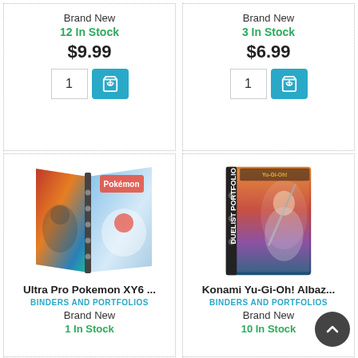Brand New
12 In Stock
$9.99
Brand New
3 In Stock
$6.99
[Figure (photo): Ultra Pro Pokemon XY6 binder/portfolio product photo]
Ultra Pro Pokemon XY6 ...
BINDERS AND PORTFOLIOS
Brand New
1 In Stock
[Figure (photo): Konami Yu-Gi-Oh! Albaz Duelist Portfolio product photo]
Konami Yu-Gi-Oh! Albaz...
BINDERS AND PORTFOLIOS
Brand New
10 In Stock